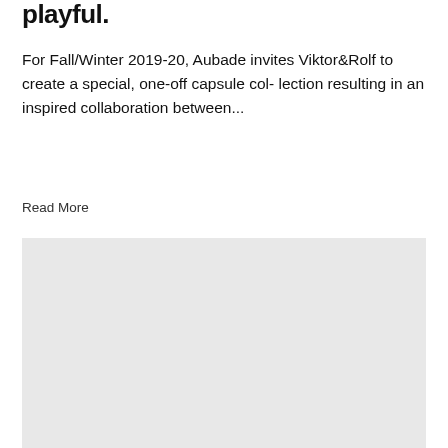playful.
For Fall/Winter 2019-20, Aubade invites Viktor&Rolf to create a special, one-off capsule col- lection resulting in an inspired collaboration between...
Read More
[Figure (photo): Large light grey image placeholder block occupying the lower portion of the page]